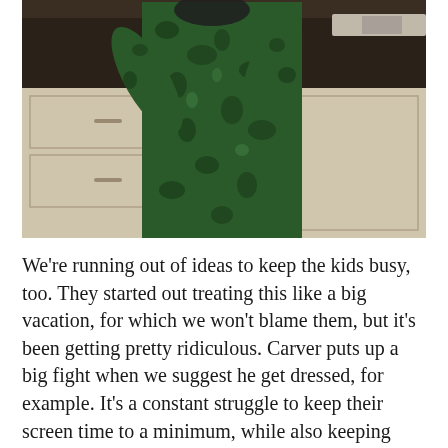[Figure (photo): A person wearing a green patterned onesie/pajama suit standing in a kitchen with white/cream cabinets and a dark countertop visible in the background.]
We're running out of ideas to keep the kids busy, too. They started out treating this like a big vacation, for which we won't blame them, but it's been getting pretty ridiculous. Carver puts up a big fight when we suggest he get dressed, for example. It's a constant struggle to keep their screen time to a minimum, while also keeping them